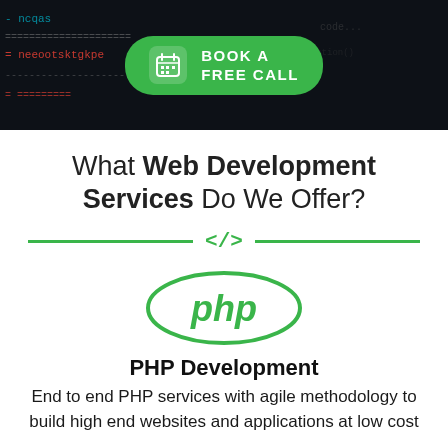[Figure (screenshot): Dark banner with code in background and a green 'BOOK A FREE CALL' button with calendar icon]
What Web Development Services Do We Offer?
[Figure (illustration): Green horizontal divider lines with a </> code icon in the center]
[Figure (logo): PHP logo: oval shape with 'php' text in green]
PHP Development
End to end PHP services with agile methodology to build high end websites and applications at low cost